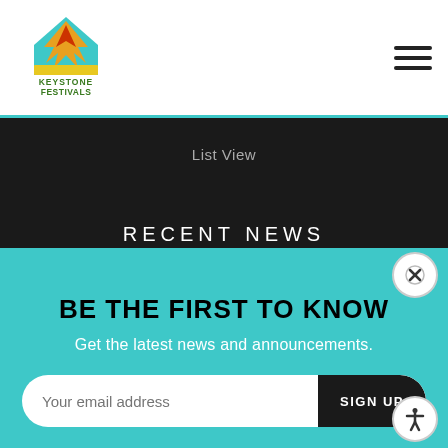[Figure (logo): Keystone Festivals logo - house shape with flame, yellow/orange/teal colors, text KEYSTONE FESTIVALS below]
[Figure (illustration): Hamburger menu icon (three horizontal lines) in top right corner]
List View
RECENT NEWS
[Figure (photo): Close-up food photo showing noodles/rice dishes with sauce]
BE THE FIRST TO KNOW
Get the latest news and announcements.
Your email address
SIGN UP